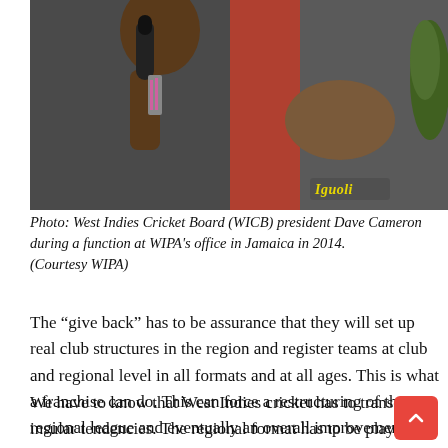[Figure (photo): West Indies Cricket Board (WICB) president Dave Cameron during a function at WIPA's office in Jamaica in 2014, holding a microphone and gesturing with his hand. A 'Iguoli' watermark is visible at the bottom right of the photo.]
Photo: West Indies Cricket Board (WICB) president Dave Cameron during a function at WIPA’s office in Jamaica in 2014.
(Courtesy WIPA)
The “give back” has to be assurance that they will set up real club structures in the region and register teams at club and regional level in all formats and at all ages. This is what a franchise can do. This can force a restructuring of the regional league and eventually an overall improvement in the standard of regional play.
We have to know that West Indies cricket has to transcend insular tendencies. The regional format has to be played among the best players and not among the